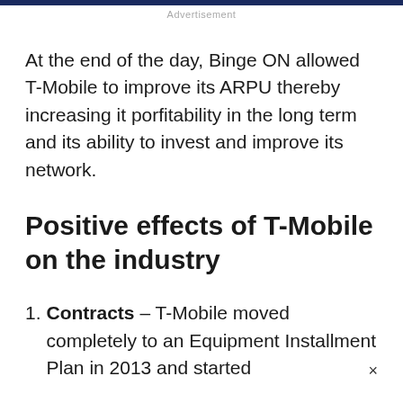Advertisement
At the end of the day, Binge ON allowed T-Mobile to improve its ARPU thereby increasing it porfitability in the long term and its ability to invest and improve its network.
Positive effects of T-Mobile on the industry
1. Contracts – T-Mobile moved completely to an Equipment Installment Plan in 2013 and started